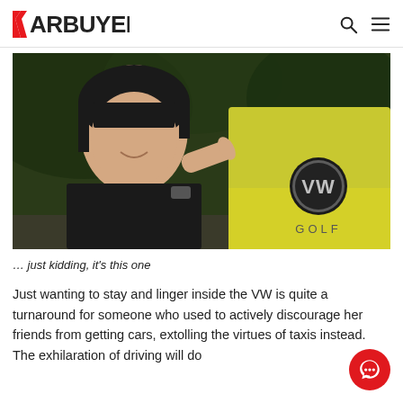CARBUYER
[Figure (photo): A young woman smiling and pointing at the VW Golf badge on a yellow Volkswagen Golf car, outdoors with green foliage in background.]
… just kidding, it's this one
Just wanting to stay and linger inside the VW is quite a turnaround for someone who used to actively discourage her friends from getting cars, extolling the virtues of taxis instead. The exhilaration of driving will do